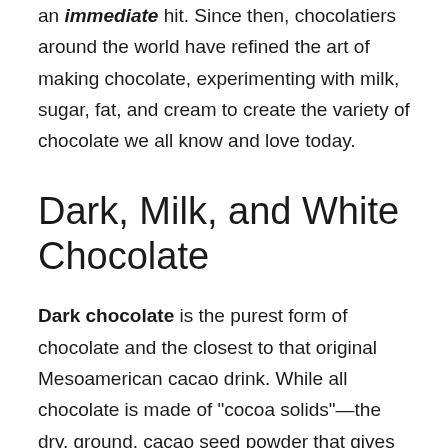an immediate hit. Since then, chocolatiers around the world have refined the art of making chocolate, experimenting with milk, sugar, fat, and cream to create the variety of chocolate we all know and love today.
Dark, Milk, and White Chocolate
Dark chocolate is the purest form of chocolate and the closest to that original Mesoamerican cacao drink. While all chocolate is made of "cocoa solids"—the dry, ground, cacao seed powder that gives chocolate its characteristic taste—dark chocolate is